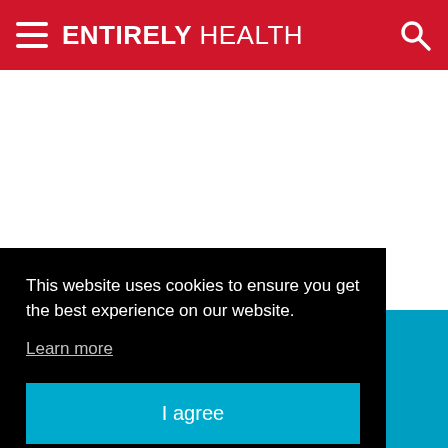ENTIRELY HEALTH
[Figure (screenshot): Cookie consent dialog overlay on a health website. Black background panel with white text reading 'This website uses cookies to ensure you get the best experience on our website.' with a 'Learn more' underlined link and a teal 'I agree' button. Behind the overlay is a partially visible page with red and blue elements and large text 'e' and 'Specialists'.]
This website uses cookies to ensure you get the best experience on our website.
Learn more
I agree